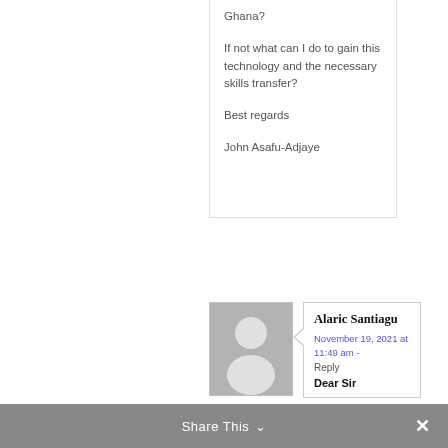Ghana?

If not what can I do to gain this technology and the necessary skills transfer?

Best regards

John Asafu-Adjaye
[Figure (illustration): Generic user avatar placeholder — gray square with white silhouette of a person]
Alaric Santiague
November 19, 2021 at 11:49 am - Reply
Dear Sir
Share This ∨ ✕